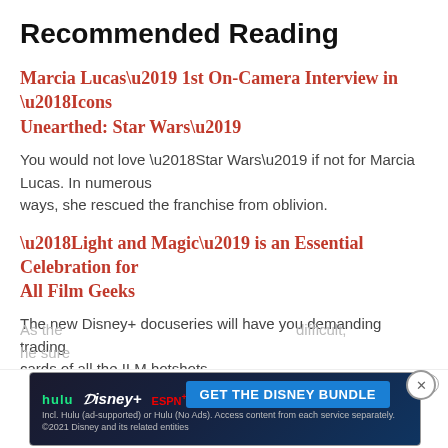Recommended Reading
Marcia Lucas’ 1st On-Camera Interview in ‘Icons Unearthed: Star Wars’
You would not love ‘Star Wars’ if not for Marcia Lucas. In numerous ways, she rescued the franchise from oblivion.
‘Light and Magic’ is an Essential Celebration for All Film Geeks
The new Disney+ docuseries will have you demanding trading cards of all the ILM hotshots.
Will Lucasfilm Give ‘Star Wars’ to Taika Waititi? The Director Seems Unsure
As the … difficult, he sure…
[Figure (infographic): Advertisement banner for Hulu Disney+ ESPN bundle with GET THE DISNEY BUNDLE call to action]